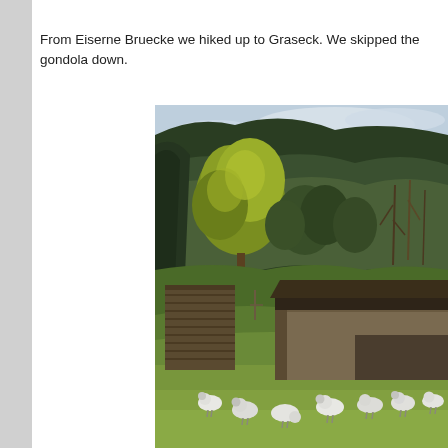From Eiserne Bruecke we hiked up to Graseck. We skipped the gondola down.
[Figure (photo): Outdoor mountain landscape photo showing a forested hillside with autumn trees (yellow-green foliage on left), dark coniferous forest on the mountain slope, partly cloudy sky, rustic wooden farm buildings/barns in the middle ground, and a flock of sheep grazing on a green lawn in the foreground.]